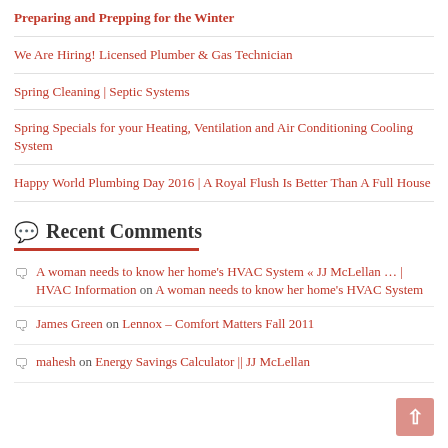Preparing and Prepping for the Winter
We Are Hiring! Licensed Plumber & Gas Technician
Spring Cleaning | Septic Systems
Spring Specials for your Heating, Ventilation and Air Conditioning Cooling System
Happy World Plumbing Day 2016 | A Royal Flush Is Better Than A Full House
Recent Comments
A woman needs to know her home's HVAC System « JJ McLellan … | HVAC Information on A woman needs to know her home's HVAC System
James Green on Lennox – Comfort Matters Fall 2011
mahesh on Energy Savings Calculator || JJ McLellan